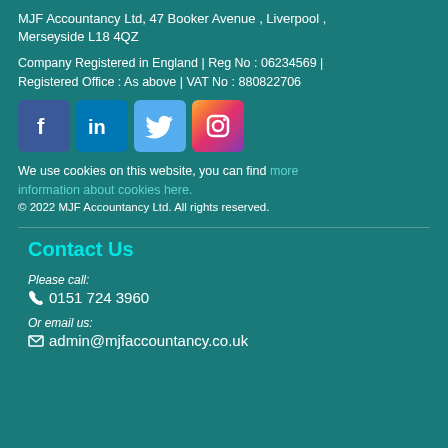MJF Accountancy Ltd, 47 Booker Avenue , Liverpool , Merseyside L18 4QZ
Company Registered in England | Reg No : 06234569 | Registered Office : As above | VAT No : 880822706
[Figure (other): Social media icons: Facebook, LinkedIn, Twitter, Instagram]
We use cookies on this website, you can find more information about cookies here.
© 2022 MJF Accountancy Ltd. All rights reserved.
Contact Us
Please call:
0151 724 3960
Or email us:
admin@mjfaccountancy.co.uk